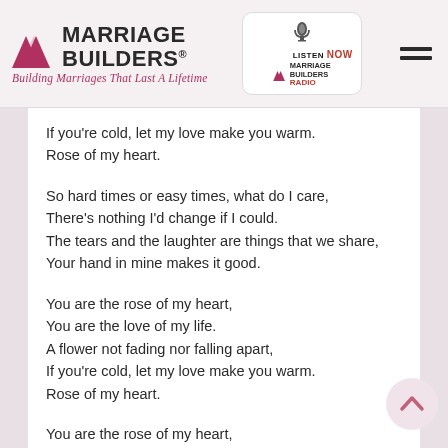Marriage Builders® — Building Marriages That Last A Lifetime
If you're cold, let my love make you warm.
Rose of my heart.

So hard times or easy times, what do I care,
There's nothing I'd change if I could.
The tears and the laughter are things that we share,
Your hand in mine makes it good.

You are the rose of my heart,
You are the love of my life.
A flower not fading nor falling apart,
If you're cold, let my love make you warm.
Rose of my heart.

You are the rose of my heart,
You are the love of my life.
A flower not fading nor falling apart,